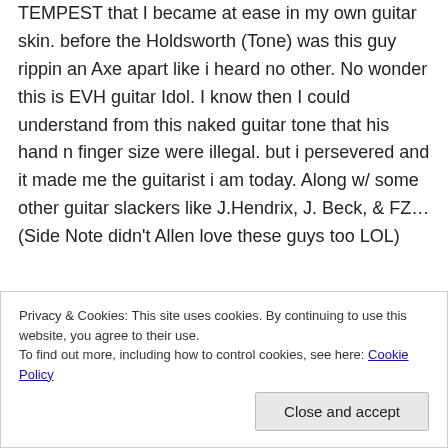TEMPEST that I became at ease in my own guitar skin. before the Holdsworth (Tone) was this guy rippin an Axe apart like i heard no other. No wonder this is EVH guitar Idol. I know then I could understand from this naked guitar tone that his hand n finger size were illegal. but i persevered and it made me the guitarist i am today. Along w/ some other guitar slackers like J.Hendrix, J. Beck, & FZ… (Side Note didn't Allen love these guys too LOL)
Later in years seeing him live i could just watch a
Privacy & Cookies: This site uses cookies. By continuing to use this website, you agree to their use.
To find out more, including how to control cookies, see here: Cookie Policy